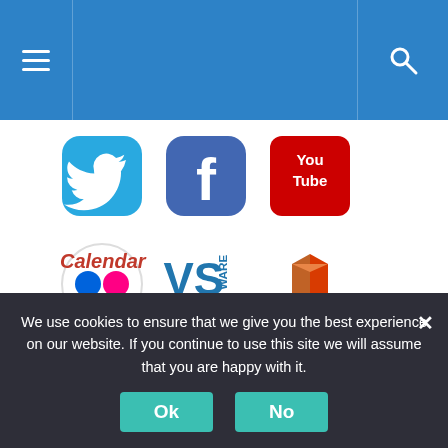[Figure (screenshot): Website navigation bar with hamburger menu icon on left and search icon on right, blue background]
[Figure (illustration): Row of social media app icons: Twitter (blue bird), Facebook (blue f), YouTube (red)]
[Figure (illustration): Row of app icons: Flickr (circle with colored dots), VSware (blue VS), Office 365 (orange/red logo with text)]
[Figure (illustration): Single app icon: Pcloud (teal circular C with P inside)]
Calendar
We use cookies to ensure that we give you the best experience on our website. If you continue to use this site we will assume that you are happy with it.